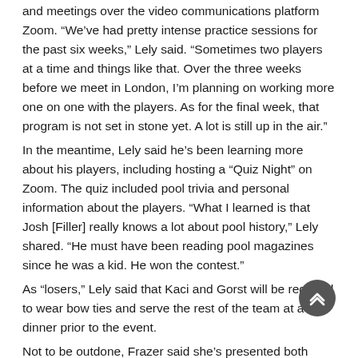and meetings over the video communications platform Zoom. “We’ve had pretty intense practice sessions for the past six weeks,” Lely said. “Sometimes two players at a time and things like that. Over the three weeks before we meet in London, I’m planning on working more one on one with the players. As for the final week, that program is not set in stone yet. A lot is still up in the air.”
In the meantime, Lely said he’s been learning more about his players, including hosting a “Quiz Night” on Zoom. The quiz included pool trivia and personal information about the players. “What I learned is that Josh [Filler] really knows a lot about pool history,” Lely shared. “He must have been reading pool magazines since he was a kid. He won the contest.”
As “losers,” Lely said that Kaci and Gorst will be required to wear bow ties and serve the rest of the team at a dinner prior to the event.
Not to be outdone, Frazer said she’s presented both teams with a mind-reading challenge with the members receiving the